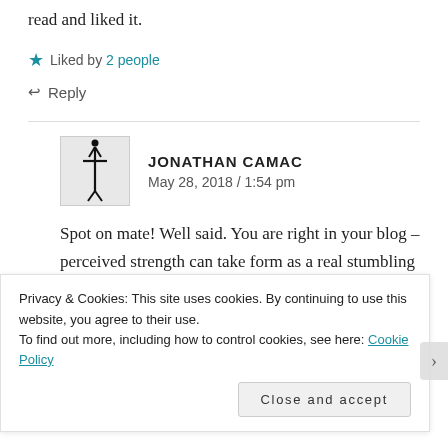read and liked it.
★ Liked by 2 people
↩ Reply
JONATHAN CAMAC
May 28, 2018 / 1:54 pm
Spot on mate! Well said. You are right in your blog – perceived strength can take form as a real stumbling block and a wide channel for pride. Important we check ourselves in that often. Thanks for stopping by
Privacy & Cookies: This site uses cookies. By continuing to use this website, you agree to their use.
To find out more, including how to control cookies, see here: Cookie Policy